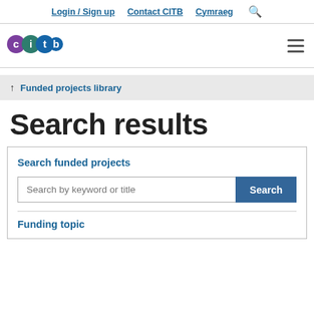Login / Sign up   Contact CITB   Cymraeg
[Figure (logo): CITB logo with coloured circles (purple, teal, blue) and letters c, i, t, b]
↑ Funded projects library
Search results
Search funded projects
Search by keyword or title [Search button]
Funding topic